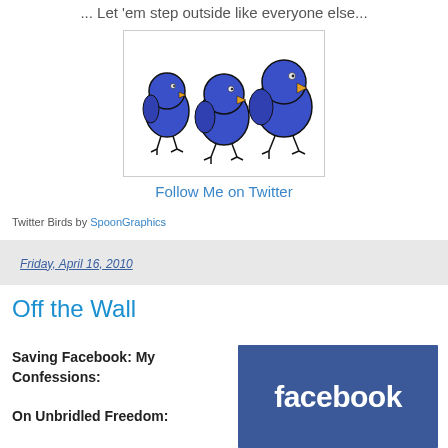... Let 'em step outside like everyone else...
[Figure (illustration): Three blue cartoon Twitter birds of different sizes standing side by side inside a white box with a light border.]
Follow Me on Twitter
Twitter Birds by SpoonGraphics
Friday, April 16, 2010
Off the Wall
Saving Facebook: My Confessions:
[Figure (logo): Facebook logo — white bold lowercase 'facebook' text on a blue background.]
On Unbridled Freedom: